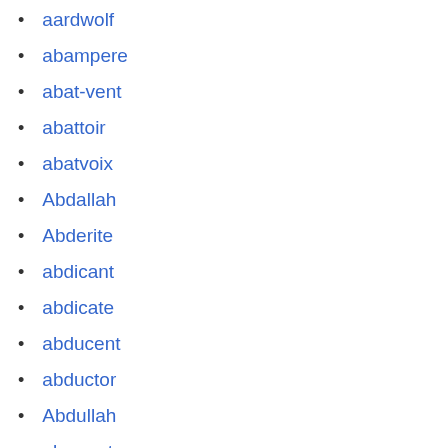aardwolf
abampere
abat-vent
abattoir
abatvoix
Abdallah
Abderite
abdicant
abdicate
abducent
abductor
Abdullah
aberrant